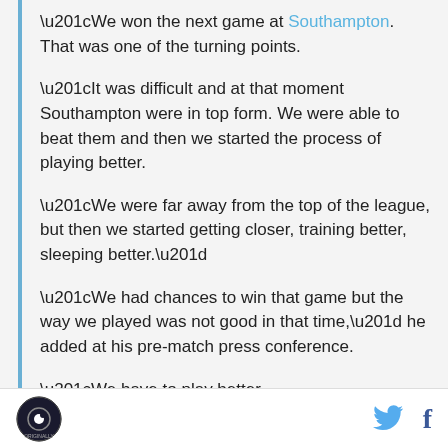“We won the next game at Southampton. That was one of the turning points.
“It was difficult and at that moment Southampton were in top form. We were able to beat them and then we started the process of playing better.
“We were far away from the top of the league, but then we started getting closer, training better, sleeping better.”
“We had chances to win that game but the way we played was not good in that time,” he added at his pre-match press conference.
“We have to play better.
[logo] [twitter] [facebook]